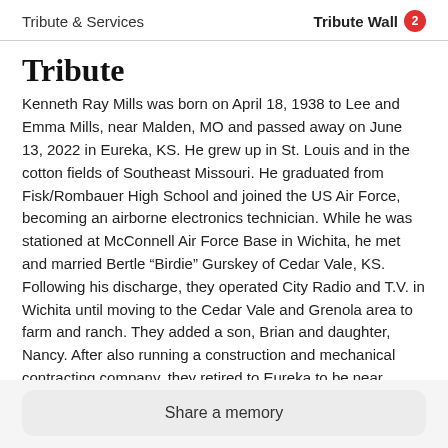Tribute & Services   Tribute Wall 2
Tribute
Kenneth Ray Mills was born on April 18, 1938 to Lee and Emma Mills, near Malden, MO and passed away on June 13, 2022 in Eureka, KS. He grew up in St. Louis and in the cotton fields of Southeast Missouri. He graduated from Fisk/Rombauer High School and joined the US Air Force, becoming an airborne electronics technician. While he was stationed at McConnell Air Force Base in Wichita, he met and married Bertle “Birdie” Gurskey of Cedar Vale, KS. Following his discharge, they operated City Radio and T.V. in Wichita until moving to the Cedar Vale and Grenola area to farm and ranch. They added a son, Brian and daughter, Nancy. After also running a construction and mechanical contracting company, they retired to Eureka to be near grandchildren. Ken
Share a memory